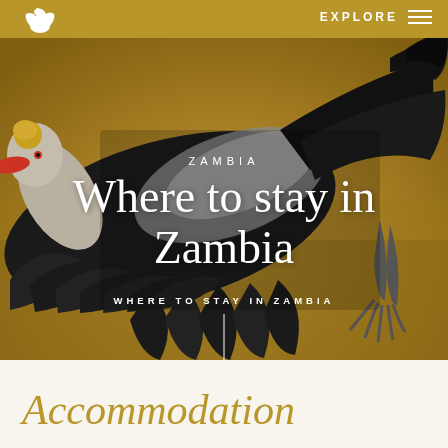[Figure (photo): A bird (Grey Crowned Crane) in flight with wings spread against a golden savanna background, filling the hero area of a travel website page about Zambia accommodation]
EXPLORE
ZAMBIA
Where to stay in Zambia
WHERE TO STAY IN ZAMBIA
Accommodation